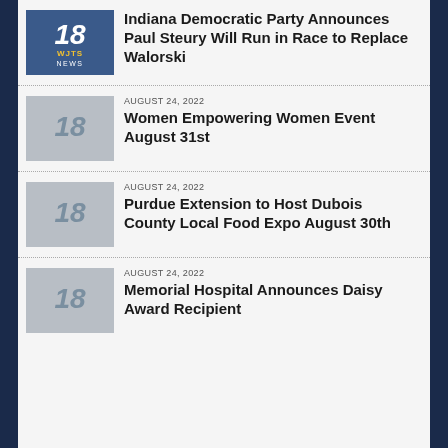[Figure (logo): WJTS 18 News logo on blue background]
Indiana Democratic Party Announces Paul Steury Will Run in Race to Replace Walorski
AUGUST 24, 2022
Women Empowering Women Event August 31st
AUGUST 24, 2022
Purdue Extension to Host Dubois County Local Food Expo August 30th
AUGUST 24, 2022
Memorial Hospital Announces Daisy Award Recipient